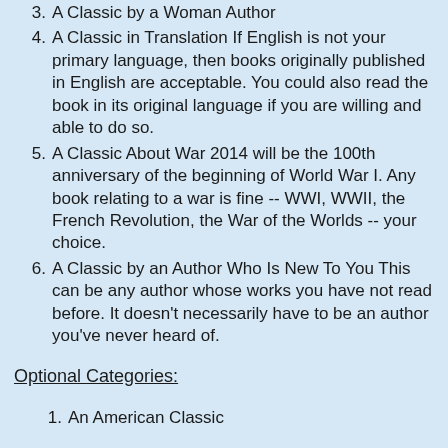3. A Classic by a Woman Author
4. A Classic in Translation If English is not your primary language, then books originally published in English are acceptable. You could also read the book in its original language if you are willing and able to do so.
5. A Classic About War 2014 will be the 100th anniversary of the beginning of World War I. Any book relating to a war is fine -- WWI, WWII, the French Revolution, the War of the Worlds -- your choice.
6. A Classic by an Author Who Is New To You This can be any author whose works you have not read before. It doesn't necessarily have to be an author you've never heard of.
Optional Categories:
1. An American Classic